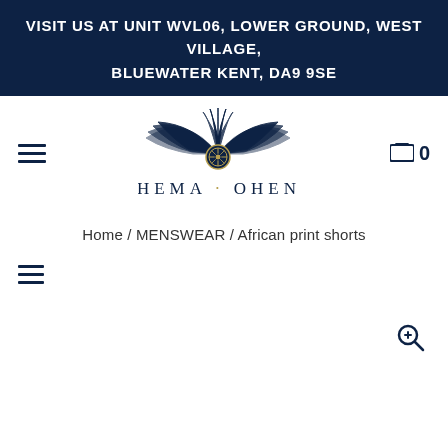VISIT US AT UNIT WVL06, LOWER GROUND, WEST VILLAGE, BLUEWATER KENT, DA9 9SE
[Figure (logo): Ohema Ohene brand logo featuring a stylized eagle/bird with spread wings in dark navy blue, centered with a circular emblem, with the text OHEMA · OHENE below in serif letters]
Home / MENSWEAR / African print shorts